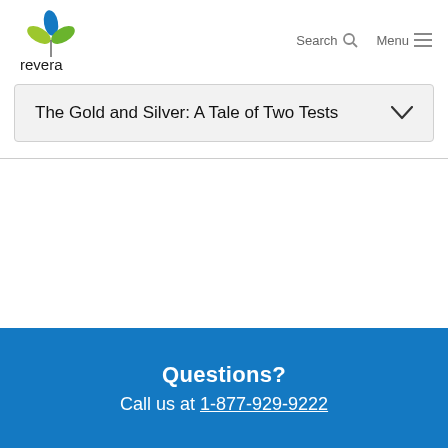[Figure (logo): Revera logo with stylized three-leaf clover in blue, green, and yellow-green, with 'revera' text below]
Search  Menu
The Gold and Silver: A Tale of Two Tests
Questions?
Call us at 1-877-929-9222